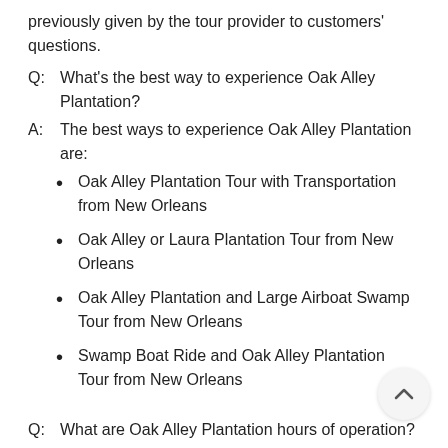previously given by the tour provider to customers' questions.
Q:  What's the best way to experience Oak Alley Plantation?
A:  The best ways to experience Oak Alley Plantation are:
Oak Alley Plantation Tour with Transportation from New Orleans
Oak Alley or Laura Plantation Tour from New Orleans
Oak Alley Plantation and Large Airboat Swamp Tour from New Orleans
Swamp Boat Ride and Oak Alley Plantation Tour from New Orleans
Q:  What are Oak Alley Plantation hours of operation?
A:  Oak Alley Plantation hours of operation: . Buy tick… advance on Viator. If you book with Viator, you c… cancel at least 24 hours before the start date of your…